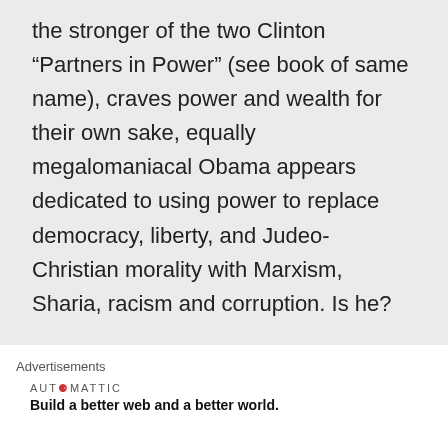the stronger of the two Clinton “Partners in Power” (see book of same name), craves power and wealth for their own sake, equally megalomaniacal Obama appears dedicated to using power to replace democracy, liberty, and Judeo-Christian morality with Marxism, Sharia, racism and corruption. Is he?
Advertisements
AUTOMATTIC
Build a better web and a better world.